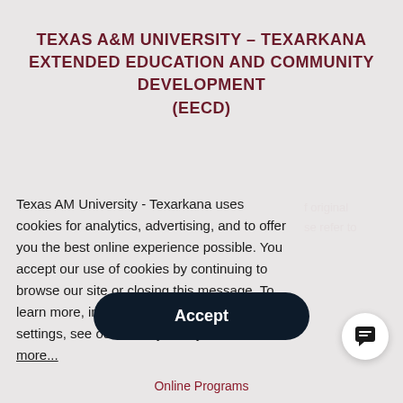TEXAS A&M UNIVERSITY – TEXARKANA EXTENDED EDUCATION AND COMMUNITY DEVELOPMENT (EECD)
f original
se refer to
Texas AM University - Texarkana uses cookies for analytics, advertising, and to offer you the best online experience possible. You accept our use of cookies by continuing to browse our site or closing this message. To learn more, including how to change your settings, see our Privacy Policy.  Read more...
Accept
Online Programs